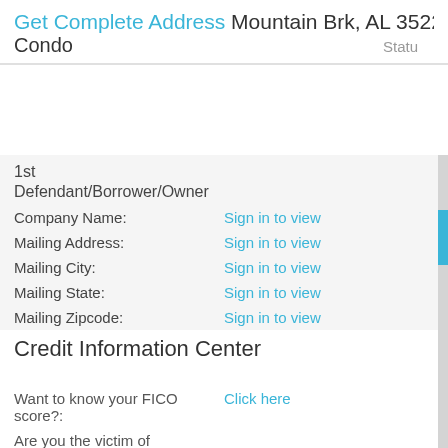Get Complete Address Mountain Brk, AL 35223
Condo
Status
1st
Defendant/Borrower/Owner
Company Name: Sign in to view
Mailing Address: Sign in to view
Mailing City: Sign in to view
Mailing State: Sign in to view
Mailing Zipcode: Sign in to view
Delinquent Amount: Sign in to view
Credit Information Center
Want to know your FICO score?: Click here
Are you the victim of identity theft?: Find out